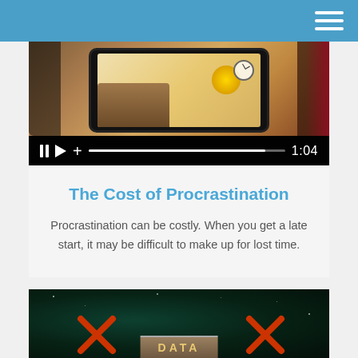[Figure (screenshot): Video player showing a tablet/phone with an illustration, with playback controls (pause, play, plus, progress bar) and timestamp 1:04]
The Cost of Procrastination
Procrastination can be costly. When you get a late start, it may be difficult to make up for lost time.
[Figure (screenshot): Dark space-themed background with red arrow markers on either side and a DATA sign in the center bottom]